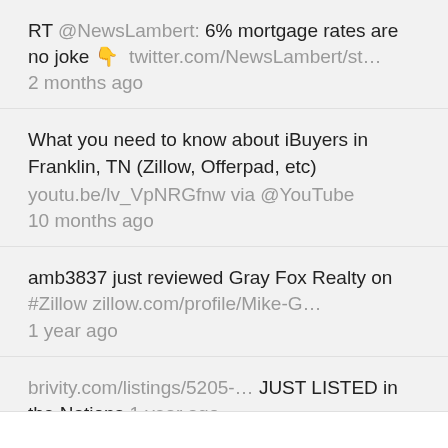RT @NewsLambert: 6% mortgage rates are no joke 👇 twitter.com/NewsLambert/st… 2 months ago
What you need to know about iBuyers in Franklin, TN (Zillow, Offerpad, etc) youtu.be/lv_VpNRGfnw via @YouTube 10 months ago
amb3837 just reviewed Gray Fox Realty on #Zillow zillow.com/profile/Mike-G… 1 year ago
brivity.com/listings/5205-… JUST LISTED in the Nations 1 year ago